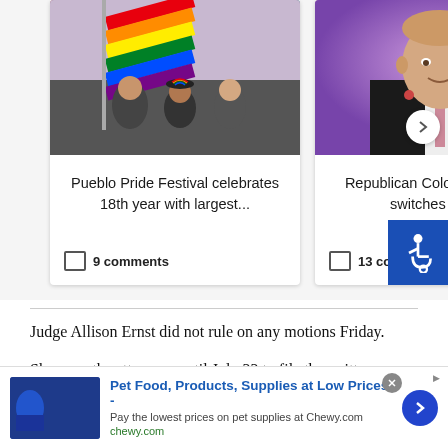[Figure (photo): Pride parade photo with rainbow flags - card thumbnail]
Pueblo Pride Festival celebrates 18th year with largest...
9 comments
[Figure (photo): Republican Colorado Senator headshot - card thumbnail]
Republican Colorado Senator switches parti...
13 comments
Judge Allison Ernst did not rule on any motions Friday.
She gave the attorneys until July 22 to file the written motions. All four guards will be back in court in late October.
[Figure (other): Advertisement banner: Pet Food, Products, Supplies at Low Prices - Chewy.com]